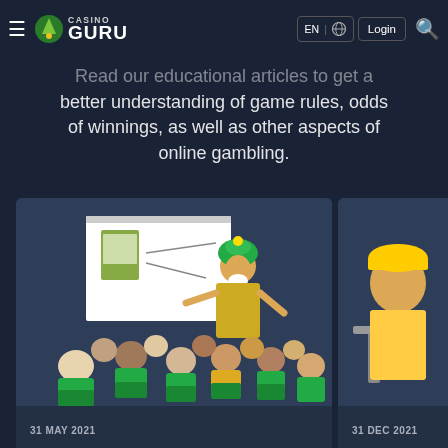Casino Guru | EN | Login
Read our educational articles to get a better understanding of game rules, odds of winnings, as well as other aspects of online gambling.
[Figure (illustration): Illustration of a guru-like figure in a green turban presenting at a whiteboard to an audience seated in green chairs, with a slot machine shown on the board.]
31 MAY 2021
How Slots Work | Slot Machine Randomness, RTP & Volatility
[Figure (illustration): Partial illustration showing a figure seated on a stool, cut off on the right side of the page.]
31 DEC 2021
Best Slot - Tips, Tric Slots